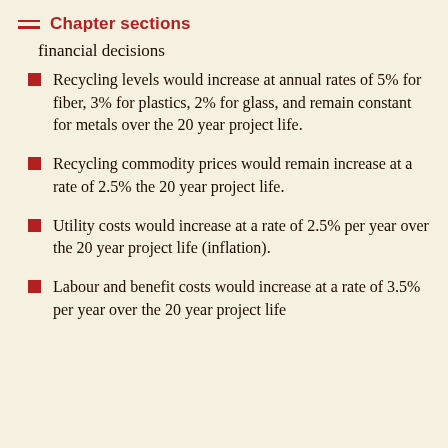Chapter sections
financial decisions
Recycling levels would increase at annual rates of 5% for fiber, 3% for plastics, 2% for glass, and remain constant for metals over the 20 year project life.
Recycling commodity prices would remain increase at a rate of 2.5% the 20 year project life.
Utility costs would increase at a rate of 2.5% per year over the 20 year project life (inflation).
Labour and benefit costs would increase at a rate of 3.5% per year over the 20 year project life